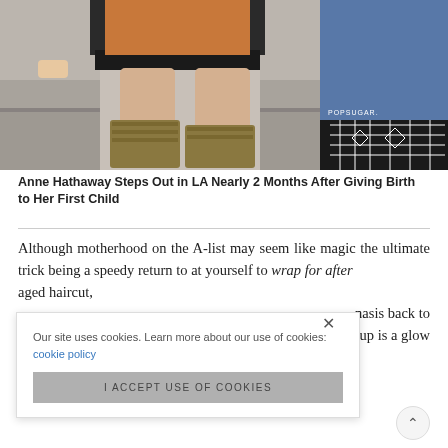[Figure (photo): Cropped photo showing lower body of person in black skirt and gold gladiator sandals on steps, with a black and white patterned bag visible on the right side. POPSUGAR watermark visible.]
Anne Hathaway Steps Out in LA Nearly 2 Months After Giving Birth to Her First Child
Although motherhood on the A-list may seem like magic the ultimate trick being a speedy return to at yourself to wrap for after aged haircut, nasis back to up is a glow
Our site uses cookies. Learn more about our use of cookies: cookie policy
I ACCEPT USE OF COOKIES